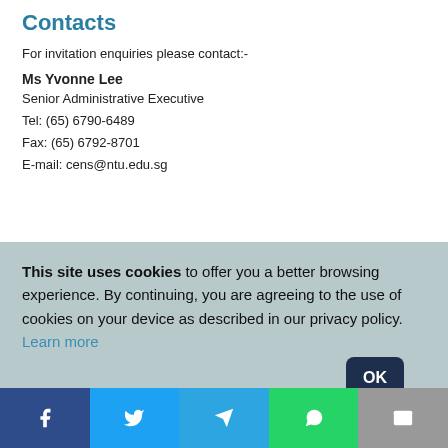Contacts
For invitation enquiries please contact:-
Ms Yvonne Lee
Senior Administrative Executive
Tel: (65) 6790-6489
Fax: (65) 6792-8701
E-mail: cens@ntu.edu.sg
This site uses cookies to offer you a better browsing experience. By continuing, you are agreeing to the use of cookies on your device as described in our privacy policy. Learn more
[Figure (infographic): Social media share bar with Facebook, Twitter, Telegram, WhatsApp, and Email icons]